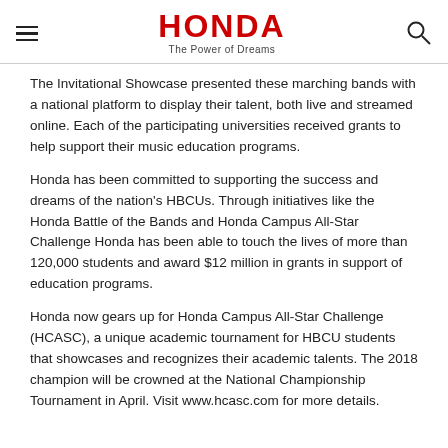HONDA The Power of Dreams
The Invitational Showcase presented these marching bands with a national platform to display their talent, both live and streamed online. Each of the participating universities received grants to help support their music education programs.
Honda has been committed to supporting the success and dreams of the nation's HBCUs. Through initiatives like the Honda Battle of the Bands and Honda Campus All-Star Challenge Honda has been able to touch the lives of more than 120,000 students and award $12 million in grants in support of education programs.
Honda now gears up for Honda Campus All-Star Challenge (HCASC), a unique academic tournament for HBCU students that showcases and recognizes their academic talents. The 2018 champion will be crowned at the National Championship Tournament in April. Visit www.hcasc.com for more details.